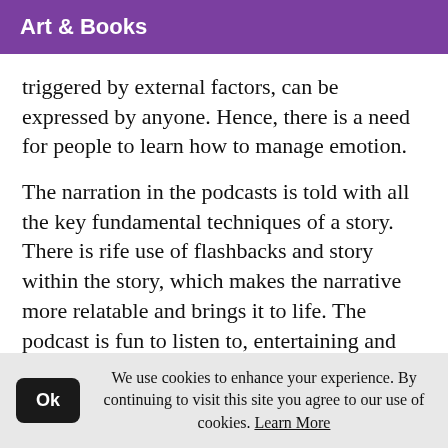Art & Books
triggered by external factors, can be expressed by anyone. Hence, there is a need for people to learn how to manage emotion.
The narration in the podcasts is told with all the key fundamental techniques of a story. There is rife use of flashbacks and story within the story, which makes the narrative more relatable and brings it to life. The podcast is fun to listen to, entertaining and equally educative.
I... (partial line cut off)
We use cookies to enhance your experience. By continuing to visit this site you agree to our use of cookies. Learn More